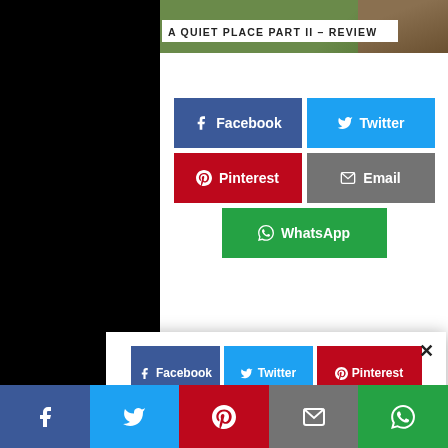[Figure (photo): Top portion of article page with photo and article title 'A QUIET PLACE PART II - REVIEW']
A QUIET PLACE PART II – REVIEW
[Figure (infographic): Social sharing buttons: Facebook (blue), Twitter (cyan), Pinterest (red), Email (grey), WhatsApp (green)]
A Quiet Place Part II doesn't pick up where the last one left off. Instead, the first ten minutes are spent remembering the first day of the deadly invasion which drives the plot of both films. Excited cheers, crinkled wrappers and mindless chatter initially flurry through the air,
[Figure (screenshot): Share popup overlay with Facebook, Twitter, Pinterest, Email, WhatsApp buttons and close X button]
[Figure (infographic): Bottom sticky share bar with Facebook, Twitter, Pinterest, Email, WhatsApp buttons]